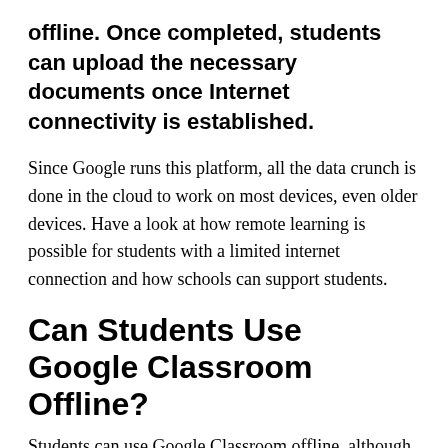offline. Once completed, students can upload the necessary documents once Internet connectivity is established.
Since Google runs this platform, all the data crunch is done in the cloud to work on most devices, even older devices. Have a look at how remote learning is possible for students with a limited internet connection and how schools can support students.
Can Students Use Google Classroom Offline?
Students can use Google Classroom offline, although